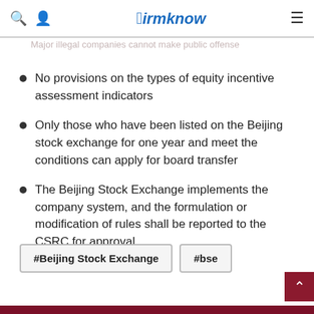FirmKnow
No provisions on the types of equity incentive assessment indicators
Only those who have been listed on the Beijing stock exchange for one year and meet the conditions can apply for board transfer
The Beijing Stock Exchange implements the company system, and the formulation or modification of rules shall be reported to the CSRC for approval
#Beijing Stock Exchange   #bse